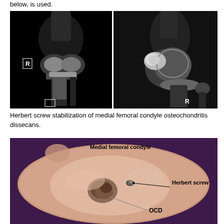below, is used.
[Figure (photo): Two X-ray images of a knee joint side by side. Left image shows AP view of knee with 'R' marker visible. Right image shows lateral/oblique view of knee with 'R' marker visible, showing osteochondritis dissecans lesion on the medial femoral condyle.]
Herbert screw stabilization of medial femoral condyle osteochondritis dissecans.
[Figure (photo): Arthroscopic photograph showing the interior of a knee joint. Labels point to: 'Medial femoral condyle' at top, 'Herbert screw' on the right side with an arrow, and 'OCD' at the bottom with a line pointing to the osteochondral defect area.]